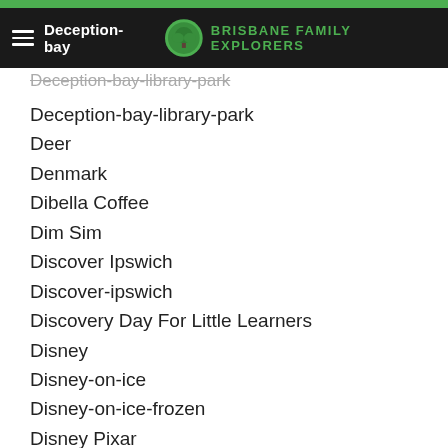Brisbane Family Explorers — navigation header
Deception-bay-library-park
Deception-bay-library-park
Deer
Denmark
Dibella Coffee
Dim Sim
Discover Ipswich
Discover-ipswich
Discovery Day For Little Learners
Disney
Disney-on-ice
Disney-on-ice-frozen
Disney Pixar
Disney Pixat
Dodgem Cars
Dogs
Dolphins